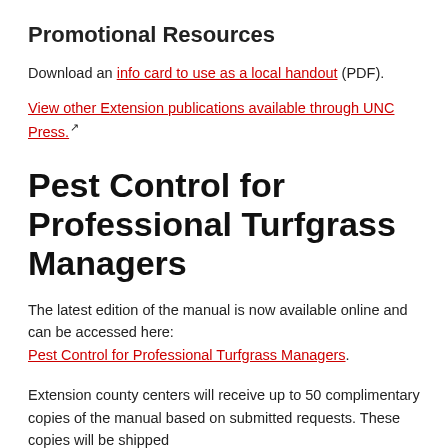Promotional Resources
Download an info card to use as a local handout (PDF).
View other Extension publications available through UNC Press.
Pest Control for Professional Turfgrass Managers
The latest edition of the manual is now available online and can be accessed here: Pest Control for Professional Turfgrass Managers.
Extension county centers will receive up to 50 complimentary copies of the manual based on submitted requests. These copies will be shipped